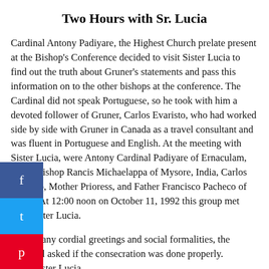Two Hours with Sr. Lucia
Cardinal Antony Padiyare, the Highest Church prelate present at the Bishop's Conference decided to visit Sister Lucia to find out the truth about Gruner's statements and pass this information on to the other bishops at the conference. The Cardinal did not speak Portuguese, so he took with him a devoted follower of Gruner, Carlos Evaristo, who had worked side by side with Gruner in Canada as a travel consultant and was fluent in Portuguese and English. At the meeting with Sister Lucia, were Antony Cardinal Padiyare of Ernaculam, India, Bishop Rancis Michaelappa of Mysore, India, Carlos Everisto, Mother Prioress, and Father Francisco Pacheco of Brasil. At 12:00 noon on October 11, 1992 this group met with Sister Lucia.
After many cordial greetings and social formalities, the Cardinal asked if the consecration was done properly. SL = Sister Lucia
SL: “Yes. Yes. Yes. The consecration was